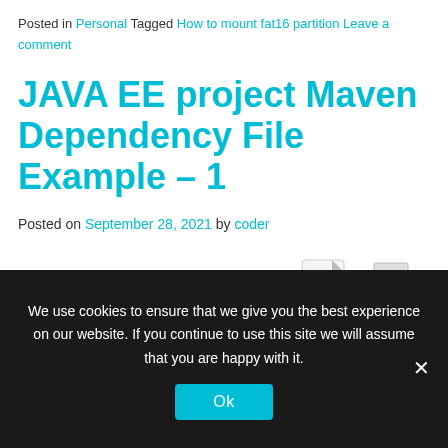Posted in Personal Tagged How to mount fat16 partition Leave a comment
JAVA EE project Maven Dependency File Example – 1
Posted on September 28, 2021 by coder
[Figure (illustration): PDF icon and printer icon]
We use cookies to ensure that we give you the best experience on our website. If you continue to use this site we will assume that you are happy with it.
Ok